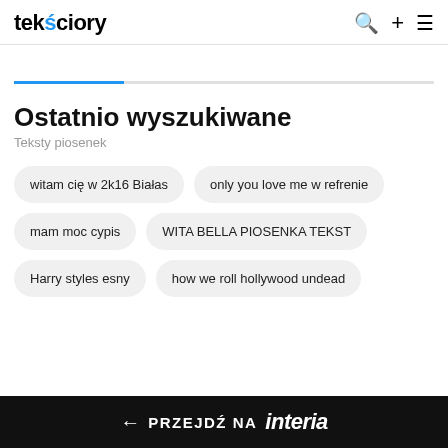teksciory
Ostatnio wyszukiwane
Teksty piosenek
witam cię w 2k16 Białas
only you love me w refrenie
mam moc cypis
WITA BELLA PIOSENKA TEKST
Harry styles esny
how we roll hollywood undead
← PRZEJDŹ NA interia